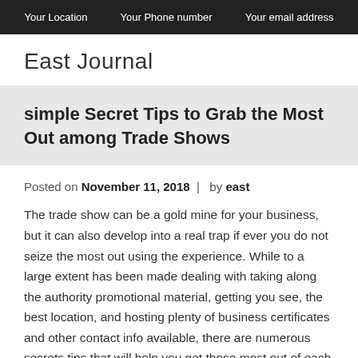Your Location   Your Phone number   Your email address
East Journal
simple Secret Tips to Grab the Most Out among Trade Shows
Posted on November 11, 2018 | by east
The trade show can be a gold mine for your business, but it can also develop into a real trap if ever you do not seize the most out using the experience. While to a large extent has been made dealing with taking along the authority promotional material, getting you see, the best location, and hosting plenty of business certificates and other contact info available, there are numerous secrets tips that will help you get those most out of each and every one trade show.